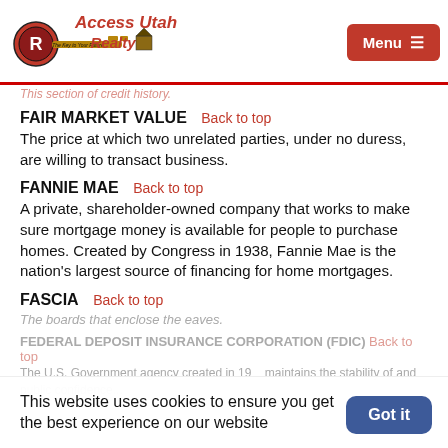Access Utah Realty — Menu
This section of credit history.
FAIR MARKET VALUE
The price at which two unrelated parties, under no duress, are willing to transact business.
FANNIE MAE
A private, shareholder-owned company that works to make sure mortgage money is available for people to purchase homes. Created by Congress in 1938, Fannie Mae is the nation's largest source of financing for home mortgages.
FASCIA
The boards that enclose the eaves.
FEDERAL DEPOSIT INSURANCE CORPORATION (FDIC)  Back to top
The U.S. Government agency created in 1933 that maintains the stability of and public confidence in...
This website uses cookies to ensure you get the best experience on our website
Got it